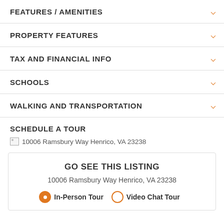FEATURES / AMENITIES
PROPERTY FEATURES
TAX AND FINANCIAL INFO
SCHOOLS
WALKING AND TRANSPORTATION
SCHEDULE A TOUR
10006 Ramsbury Way Henrico, VA 23238
GO SEE THIS LISTING
10006 Ramsbury Way Henrico, VA 23238
In-Person Tour  Video Chat Tour